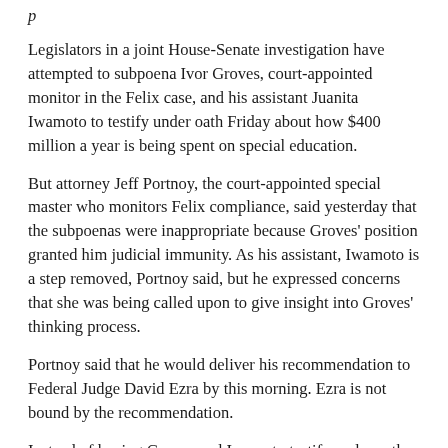Legislators in a joint House-Senate investigation have attempted to subpoena Ivor Groves, court-appointed monitor in the Felix case, and his assistant Juanita Iwamoto to testify under oath Friday about how $400 million a year is being spent on special education.
But attorney Jeff Portnoy, the court-appointed special master who monitors Felix compliance, said yesterday that the subpoenas were inappropriate because Groves' position granted him judicial immunity. As his assistant, Iwamoto is a step removed, Portnoy said, but he expressed concerns that she was being called upon to give insight into Groves' thinking process.
Portnoy said that he would deliver his recommendation to Federal Judge David Ezra by this morning. Ezra is not bound by the recommendation.
Instead of having Groves and Iwamoto testify under oath, Portnoy said he would offer the Legislature two options: provide written questions for Groves and Iwamoto which will be reviewed by the court and answered without threat of contempt, or have the attorneys for the state House, Senate and auditor meet